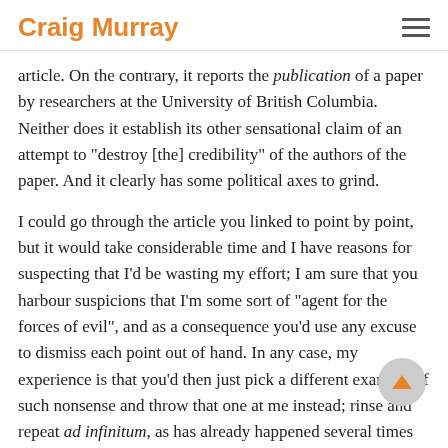Craig Murray
article. On the contrary, it reports the publication of a paper by researchers at the University of British Columbia. Neither does it establish its other sensational claim of an attempt to "destroy [the] credibility" of the authors of the paper. And it clearly has some political axes to grind.
I could go through the article you linked to point by point, but it would take considerable time and I have reasons for suspecting that I'd be wasting my effort; I am sure that you harbour suspicions that I'm some sort of "agent for the forces of evil", and as a consequence you'd use any excuse to dismiss each point out of hand. In any case, my experience is that you'd then just pick a different example of such nonsense and throw that one at me instead; rinse and repeat ad infinitum, as has already happened several times on this thread alone. It is simply impossible to keep pace with this technique; there are thousands of such articles that you can pick from and post a link to in a matter of seconds, but each requires a response that takes me an hour to write. So